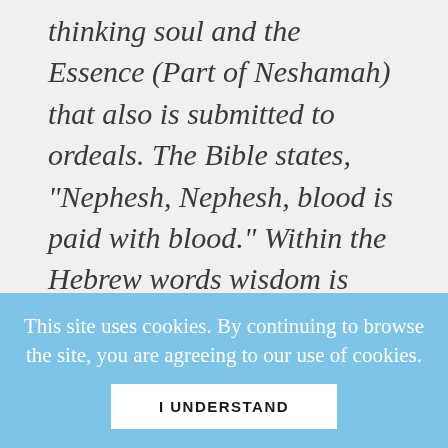thinking soul and the Essence (Part of Neshamah) that also is submitted to ordeals. The Bible states, "Nephesh, Nephesh, blood is paid with blood." Within the Hebrew words wisdom is hidden." —Samael Aun Weor, Tarot and Kabbalah
This site uses cookies. By continuing to browse the site, you are agreeing to our use of cookies. I UNDERSTAND